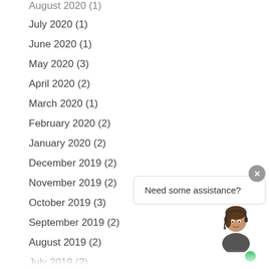August 2020 (1)
July 2020 (1)
June 2020 (1)
May 2020 (3)
April 2020 (2)
March 2020 (1)
February 2020 (2)
January 2020 (2)
December 2019 (2)
November 2019 (2)
October 2019 (3)
September 2019 (2)
August 2019 (2)
July 2019 (2)
June 2019 (2)
May 2019 (2)
[Figure (illustration): Chat support widget with assistant avatar, 'Need some assistance?' bubble, close button, and green online indicator dot]